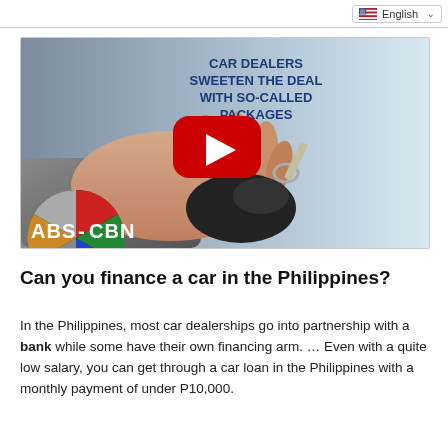English
[Figure (screenshot): ABS-CBN YouTube video thumbnail showing a hand holding car keys with text 'CAR DEALERS SWEETEN THE DEAL WITH SO-CALLED PACKAGES' and a red YouTube play button in the center. ABS-CBN logo in bottom left corner.]
Can you finance a car in the Philippines?
In the Philippines, most car dealerships go into partnership with a bank while some have their own financing arm. ... Even with a quite low salary, you can get through a car loan in the Philippines with a monthly payment of under P10,000.